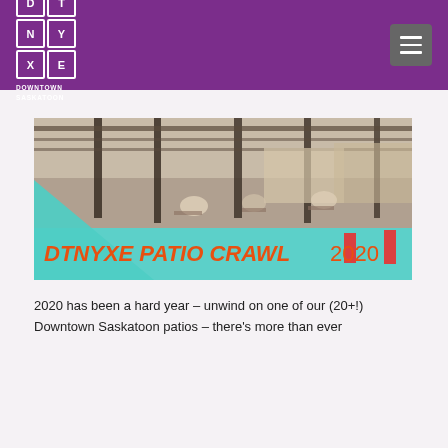[Figure (logo): DTN YXE Downtown Saskatoon logo in white on purple background, grid-style letters]
[Figure (photo): Banner image for DTNYXE Patio Crawl 2020. Shows a covered outdoor patio with people dining, teal geometric overlay at bottom with orange bold italic text reading DTNYXE PATIO CRAWL 2020.]
2020 has been a hard year – unwind on one of our (20+!) Downtown Saskatoon patios – there's more than ever